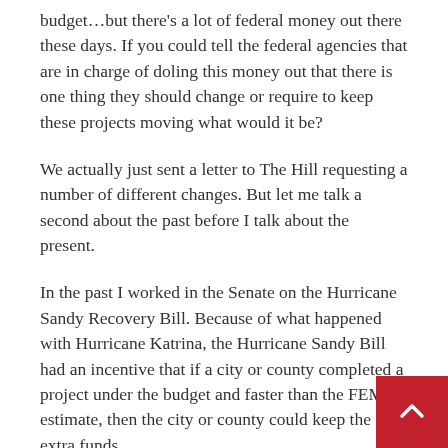budget…but there's a lot of federal money out there these days. If you could tell the federal agencies that are in charge of doling this money out that there is one thing they should change or require to keep these projects moving what would it be?
We actually just sent a letter to The Hill requesting a number of different changes. But let me talk a second about the past before I talk about the present.
In the past I worked in the Senate on the Hurricane Sandy Recovery Bill. Because of what happened with Hurricane Katrina, the Hurricane Sandy Bill had an incentive that if a city or county completed a project under the budget and faster than the FEMA estimate, then the city or county could keep the extra funds.
So what you saw was people prioritizing on; not that agencies weren't doing so before but there was a shared reason to bring everyone into a room and clearly plan